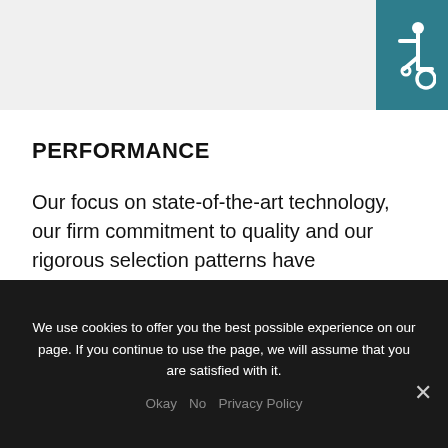[Figure (logo): Accessibility wheelchair icon on teal/dark cyan background in top right corner]
PERFORMANCE
Our focus on state-of-the-art technology, our firm commitment to quality and our rigorous selection patterns have contributed to our rapid development and well-deserved distinction within the competitive market of today.
We use cookies to offer you the best possible experience on our page. If you continue to use the page, we will assume that you are satisfied with it.
Okay   No   Privacy Policy